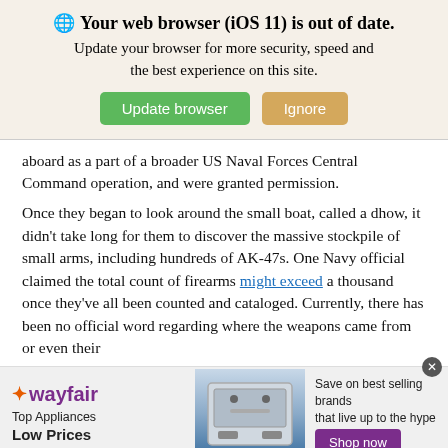[Figure (screenshot): Browser update notification banner with globe icon, bold title 'Your web browser (iOS 11) is out of date.', subtitle text, and two buttons: green 'Update browser' and tan 'Ignore']
aboard as a part of a broader US Naval Forces Central Command operation, and were granted permission.
Once they began to look around the small boat, called a dhow, it didn’t take long for them to discover the massive stockpile of small arms, including hundreds of AK-47s. One Navy official claimed the total count of firearms might exceed a thousand once they’ve all been counted and cataloged. Currently, there has been no official word regarding where the weapons came from or even their
[Figure (screenshot): Wayfair advertisement banner: logo on left, appliance image in center, 'Save on best selling brands that live up to the hype' text and purple 'Shop now' button on right]